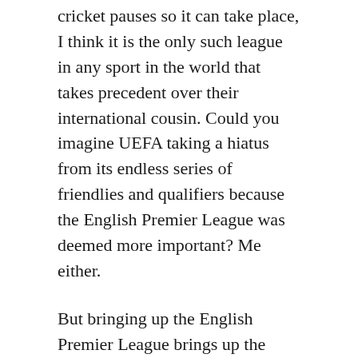cricket pauses so it can take place, I think it is the only such league in any sport in the world that takes precedent over their international cousin. Could you imagine UEFA taking a hiatus from its endless series of friendlies and qualifiers because the English Premier League was deemed more important? Me either.
But bringing up the English Premier League brings up the point that cricket is also the only team sport where the international game is top dog and the domestic game is loved but that love is localized. There very few fans of County Cricket who exist outside England or Wales, and fans of specific county teams rarely exist outside of their county. And maybe the IPL is a sign that cricket is finally starting to move to a format that more closely resembles other team sports, where the domestic game is on top of the pile except for every four years when the World Cup happens (except if the trend continues, I think it will be a few decades with a few